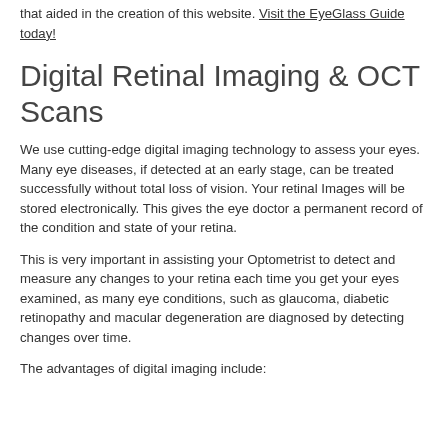that aided in the creation of this website. Visit the EyeGlass Guide today!
Digital Retinal Imaging & OCT Scans
We use cutting-edge digital imaging technology to assess your eyes. Many eye diseases, if detected at an early stage, can be treated successfully without total loss of vision. Your retinal Images will be stored electronically. This gives the eye doctor a permanent record of the condition and state of your retina.
This is very important in assisting your Optometrist to detect and measure any changes to your retina each time you get your eyes examined, as many eye conditions, such as glaucoma, diabetic retinopathy and macular degeneration are diagnosed by detecting changes over time.
The advantages of digital imaging include: